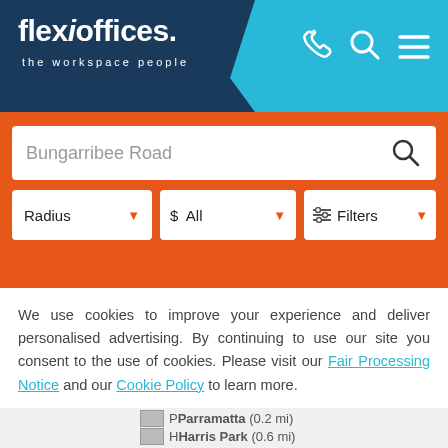[Figure (screenshot): Flexi Offices website header with logo and navigation icons on cyan/navy background]
[Figure (screenshot): Search bar showing 'Bungarribee Road' with orange background, Radius, $ All, and Filters dropdowns]
We use cookies to improve your experience and deliver personalised advertising. By continuing to use our site you consent to the use of cookies. Please visit our Fair Processing Notice and our Cookie Policy to learn more.
[Figure (screenshot): Read more and Accept & Close yellow buttons]
Parramatta (0.2 mi)
Harris Park (0.6 mi)